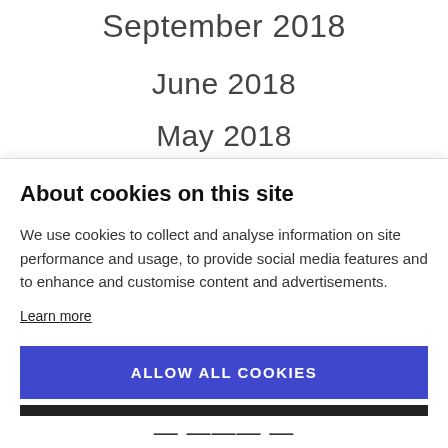September 2018
June 2018
May 2018
About cookies on this site
We use cookies to collect and analyse information on site performance and usage, to provide social media features and to enhance and customise content and advertisements.
Learn more
ALLOW ALL COOKIES
COOKIE SETTINGS